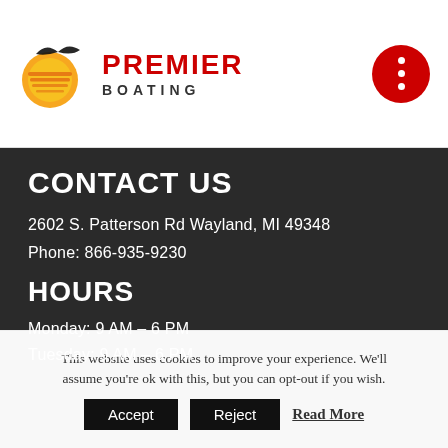[Figure (logo): Premier Boating logo with sun and bird graphic, red PREMIER text, grey BOATING text]
CONTACT US
2602 S. Patterson Rd Wayland, MI 49348
Phone: 866-935-9230
HOURS
Monday: 9 AM – 6 PM
Tuesday: 9 AM – 6 PM
This website uses cookies to improve your experience. We'll assume you're ok with this, but you can opt-out if you wish.
Accept   Reject   Read More